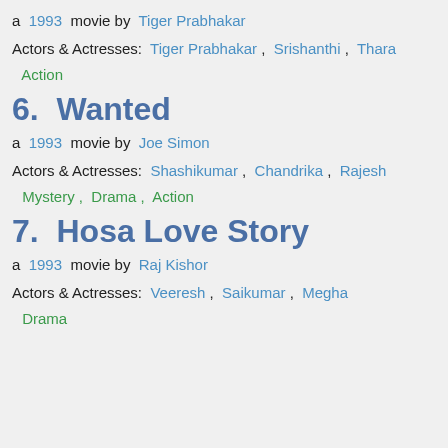a  1993  movie by  Tiger Prabhakar
Actors & Actresses:  Tiger Prabhakar ,  Srishanthi ,  Thara
Action
6.  Wanted
a  1993  movie by  Joe Simon
Actors & Actresses:  Shashikumar ,  Chandrika ,  Rajesh
Mystery ,  Drama ,  Action
7.  Hosa Love Story
a  1993  movie by  Raj Kishor
Actors & Actresses:  Veeresh ,  Saikumar ,  Megha
Drama